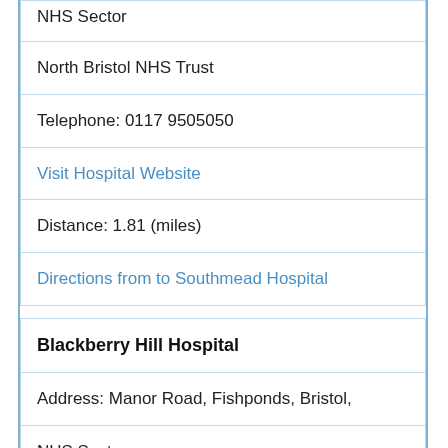NHS Sector
North Bristol NHS Trust
Telephone: 0117 9505050
Visit Hospital Website
Distance: 1.81 (miles)
Directions from to Southmead Hospital
Blackberry Hill Hospital
Address: Manor Road, Fishponds, Bristol,
NHS Sector